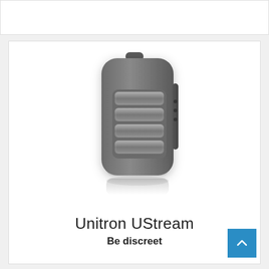[Figure (photo): Unitron UStream hearing aid device, a small dark grey rounded rectangular device with textured grip buttons on the front and a button on the side, shown with a subtle reflection below it.]
Unitron UStream
Be discreet